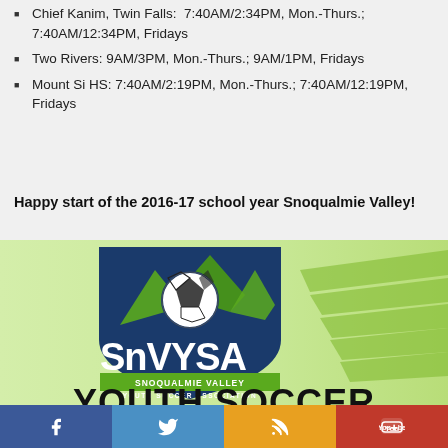Chief Kanim, Twin Falls:  7:40AM/2:34PM, Mon.-Thurs.; 7:40AM/12:34PM, Fridays
Two Rivers: 9AM/3PM, Mon.-Thurs.; 9AM/1PM, Fridays
Mount Si HS: 7:40AM/2:19PM, Mon.-Thurs.; 7:40AM/12:19PM, Fridays
Happy start of the 2016-17 school year Snoqualmie Valley!
[Figure (logo): SnVYSA Snoqualmie Valley Youth Soccer Association logo with soccer ball and mountains, green and dark blue colors, with 'YOUTH SOCCER' text at bottom]